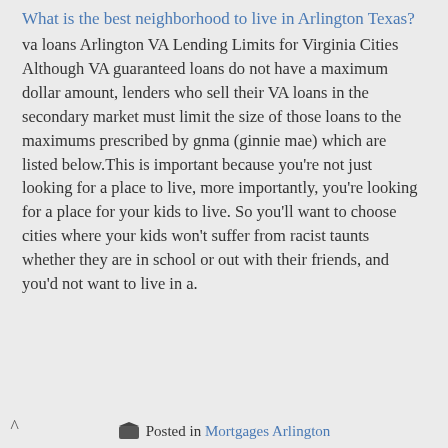What is the best neighborhood to live in Arlington Texas?
va loans Arlington VA Lending Limits for Virginia Cities Although VA guaranteed loans do not have a maximum dollar amount, lenders who sell their VA loans in the secondary market must limit the size of those loans to the maximums prescribed by gnma (ginnie mae) which are listed below.This is important because you're not just looking for a place to live, more importantly, you're looking for a place for your kids to live. So you'll want to choose cities where your kids won't suffer from racist taunts whether they are in school or out with their friends, and you'd not want to live in a.
Posted in Mortgages Arlington